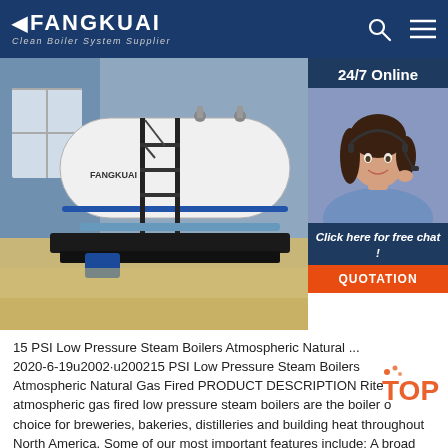FANGKUAI Clean Boiler System Supplier
[Figure (photo): Industrial steam boiler in a facility room with metal frame and piping, blue/beige tones. Includes a 24/7 Online customer service chat box overlay on the right with a woman wearing a headset, and a QUOTATION button.]
15 PSI Low Pressure Steam Boilers Atmospheric Natural ... 2020-6-19u2002·u200215 PSI Low Pressure Steam Boilers Atmospheric Natural Gas Fired PRODUCT DESCRIPTION Rite atmospheric gas fired low pressure steam boilers are the boiler of choice for breweries, bakeries, distilleries and building heat throughout North America. Some of our most important features include: A broad range of sizes - from 3 to 300 horsepower